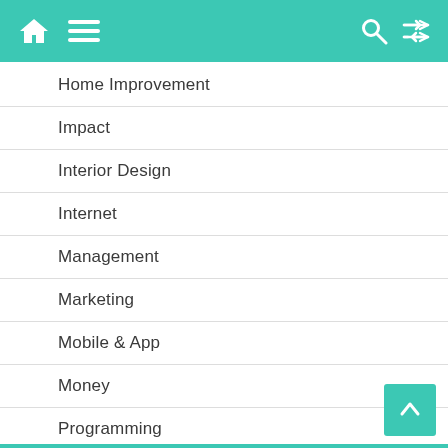Navigation header with home, menu, search, shuffle icons
Home Improvement
Impact
Interior Design
Internet
Management
Marketing
Mobile & App
Money
Programming
Real Estate
SEO